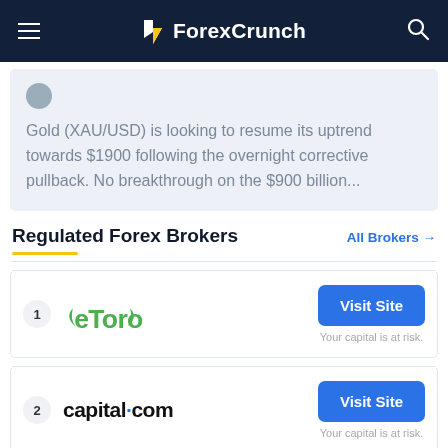ForexCrunch
Gold (XAU/USD) is looking to resume its uptrend towards $1900 following the overnight corrective pullback. No breakthrough on the $900 billion...
Regulated Forex Brokers
All Brokers →
1 eToro — Visit Site. Your capital is at risk.
2 capital.com — Visit Site. Your capital is at risk.